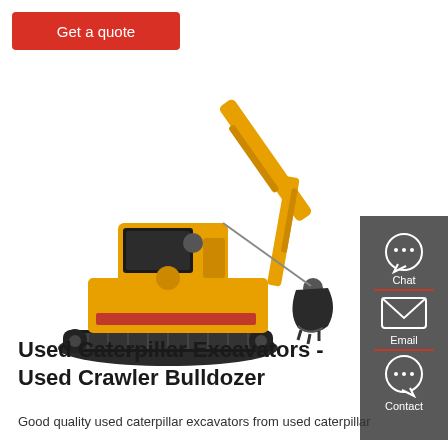Get a quote
[Figure (photo): Yellow Caterpillar crawler excavator with long arm and bucket, shown on white background]
[Figure (infographic): Dark grey sidebar with Chat, Email, and Contact icons and labels]
Used Caterpillar Excavators - Used Crawler Bulldozer
Good quality used caterpillar excavators from used caterpillar